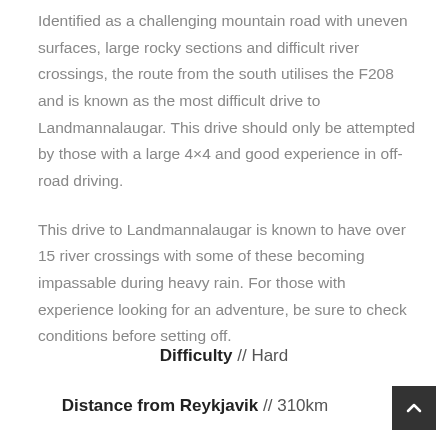Identified as a challenging mountain road with uneven surfaces, large rocky sections and difficult river crossings, the route from the south utilises the F208 and is known as the most difficult drive to Landmannalaugar. This drive should only be attempted by those with a large 4×4 and good experience in off-road driving.
This drive to Landmannalaugar is known to have over 15 river crossings with some of these becoming impassable during heavy rain. For those with experience looking for an adventure, be sure to check conditions before setting off.
Difficulty // Hard
Distance from Reykjavik // 310km